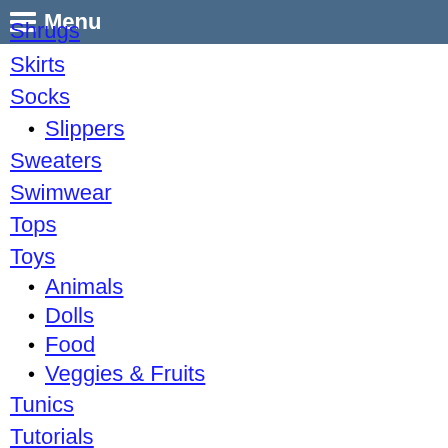Menu
Shrugs
Skirts
Socks
Slippers
Sweaters
Swimwear
Tops
Toys
Animals
Dolls
Food
Veggies & Fruits
Tunics
Tutorials